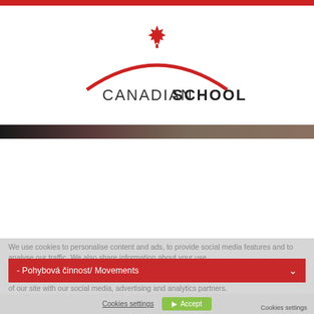[Figure (logo): Canadian School logo with red maple leaf and red arc above text 'CANADIAN SCHOOL']
[Figure (photo): Partial photo strip showing people, cropped]
We use cookies to personalise content and ads, to provide social media features and to analyse our traffic. We also share information about your use of our site with our social media, advertising and analytics partners.
- Pohybová činnost/ Movements
of our site with our social media, advertising and analytics partners.
Cookies settings
Accept
Cookies settings